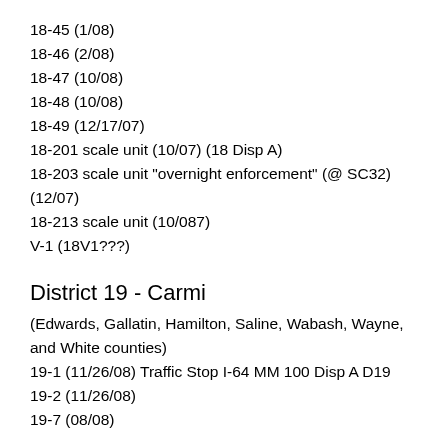18-45 (1/08)
18-46 (2/08)
18-47 (10/08)
18-48 (10/08)
18-49 (12/17/07)
18-201 scale unit (10/07) (18 Disp A)
18-203 scale unit "overnight enforcement" (@ SC32) (12/07)
18-213 scale unit (10/087)
V-1 (18V1???)
District 19 - Carmi
(Edwards, Gallatin, Hamilton, Saline, Wabash, Wayne, and White counties)
19-1 (11/26/08) Traffic Stop I-64 MM 100 Disp A D19
19-2 (11/26/08)
19-7 (08/08)